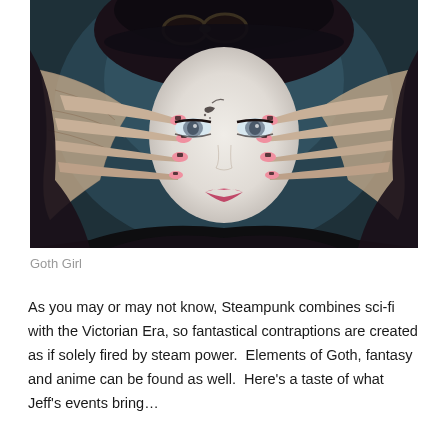[Figure (photo): A gothic steampunk styled woman with pale white face, dramatic dark eye makeup, pink lips, wearing black lace fingerless gloves, black hat with goggles, and pink and black manicured nails. Her hands are framing her face.]
Goth Girl
As you may or may not know, Steampunk combines sci-fi with the Victorian Era, so fantastical contraptions are created as if solely fired by steam power.  Elements of Goth, fantasy and anime can be found as well.  Here's a taste of what Jeff's events bring…